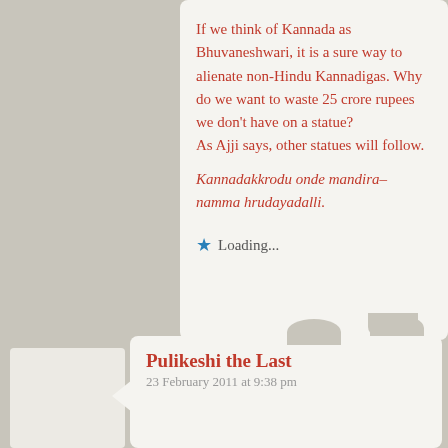If we think of Kannada as Bhuvaneshwari, it is a sure way to alienate non-Hindu Kannadigas. Why do we want to waste 25 crore rupees we don't have on a statue?
As Ajji says, other statues will follow.
Kannadakkrodu onde mandira–namma hrudayadalli.
Loading...
Pulikeshi the Last
23 February 2011 at 9:38 pm